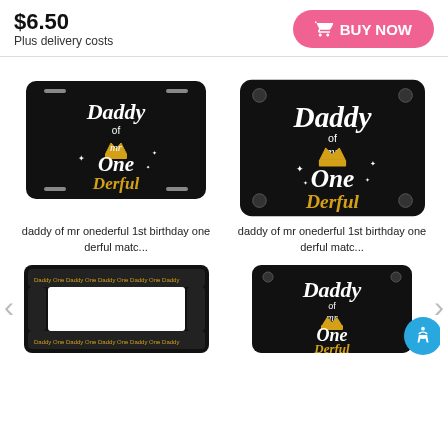$6.50
Plus delivery costs
BUY NOW
[Figure (photo): License plate reading 'Daddy of mr One Derful' with crown graphic, black background, horizontal format]
[Figure (photo): License plate reading 'Daddy of mr One Derful' with crown graphic, black background, slightly larger/closer view]
daddy of mr onederful 1st birthday one derful matc...
daddy of mr onederful 1st birthday one derful matc...
[Figure (photo): License plate frame with 'Daddy One' repeated pattern, black and gold, rectangular frame]
[Figure (photo): License plate reading 'Daddy of mr One Derful' with crown graphic, black background, smaller size]